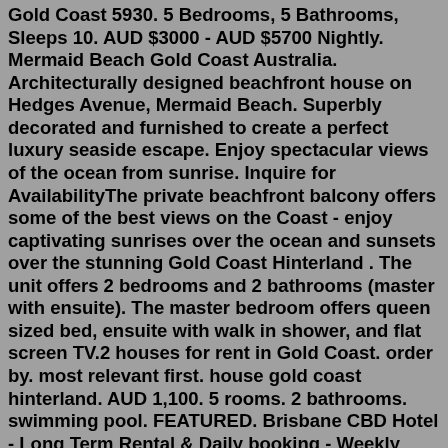Gold Coast 5930. 5 Bedrooms, 5 Bathrooms, Sleeps 10. AUD $3000 - AUD $5700 Nightly. Mermaid Beach Gold Coast Australia. Architecturally designed beachfront house on Hedges Avenue, Mermaid Beach. Superbly decorated and furnished to create a perfect luxury seaside escape. Enjoy spectacular views of the ocean from sunrise. Inquire for AvailabilityThe private beachfront balcony offers some of the best views on the Coast - enjoy captivating sunrises over the ocean and sunsets over the stunning Gold Coast Hinterland . The unit offers 2 bedrooms and 2 bathrooms (master with ensuite). The master bedroom offers queen sized bed, ensuite with walk in shower, and flat screen TV.2 houses for rent in Gold Coast. order by. most relevant first. house gold coast hinterland. AUD 1,100. 5 rooms. 2 bathrooms. swimming pool. FEATURED. Brisbane CBD Hotel - Long Term Rental & Daily booking - Weekly rent $390, - Daily booking $100-130/day, - Private room with private bathroom - Minimum lease term 12 months - Payable in advance - Water, electricity,